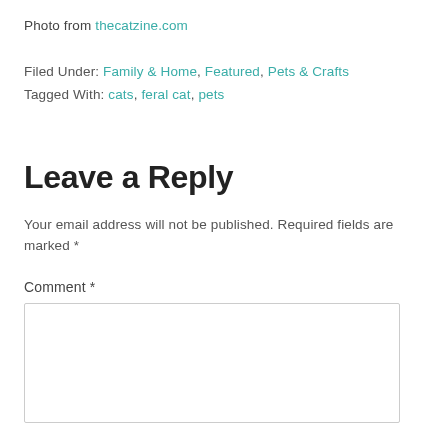Photo from thecatzine.com
Filed Under: Family & Home, Featured, Pets & Crafts
Tagged With: cats, feral cat, pets
Leave a Reply
Your email address will not be published. Required fields are marked *
Comment *